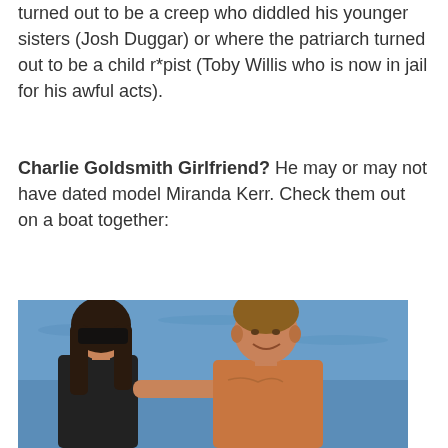turned out to be a creep who diddled his younger sisters (Josh Duggar) or where the patriarch turned out to be a child r*pist (Toby Willis who is now in jail for his awful acts).
Charlie Goldsmith Girlfriend? He may or may not have dated model Miranda Kerr. Check them out on a boat together:
[Figure (photo): A woman with long dark hair wearing sunglasses and a dark top stands next to a shirtless man with short hair. They appear to be on a boat with blue water in the background. The woman has her hand on the man's chest.]